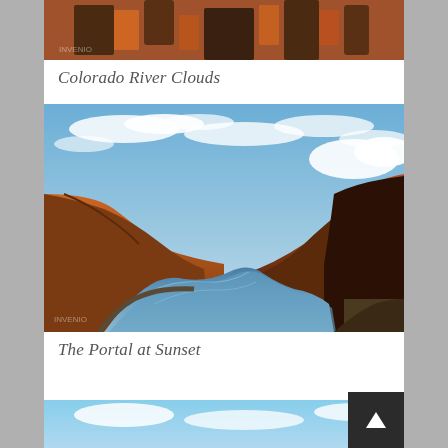[Figure (photo): Top portion of a red canyon rock face landscape photo, partially cropped at top]
Colorado River Clouds
[Figure (photo): Colorado River winding through a canyon with red rock formations on both sides, blue sky with white clouds reflected in the calm river water below]
The Portal at Sunset
[Figure (photo): Partial bottom edge of another landscape photo, just barely visible]